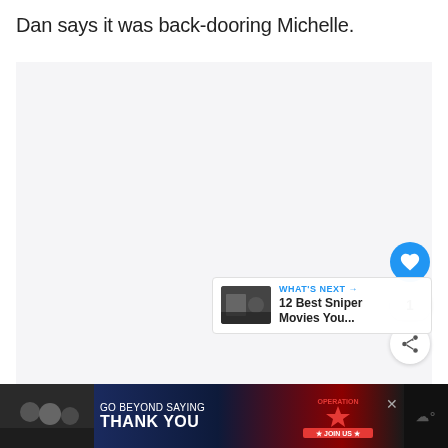Dan says it was back-dooring Michelle.
[Figure (other): Large light gray placeholder image area with a like button (blue circle with heart icon), a count of 1, and a share button on the right side. A 'What's Next' overlay in the bottom right shows a thumbnail and text '12 Best Sniper Movies You...']
[Figure (infographic): Advertisement banner at the bottom: dark background with people image on left, text 'GO BEYOND SAYING THANK YOU', Operation Gratitude logo with star and 'JOIN US' button, and a watermark on the right.]